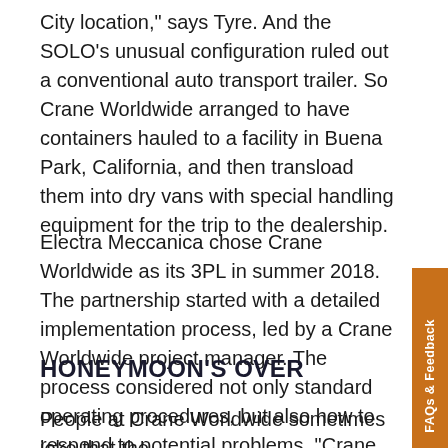City location," says Tyre. And the SOLO's unusual configuration ruled out a conventional auto transport trailer. So Crane Worldwide arranged to have containers hauled to a facility in Buena Park, California, and then transload them into dry vans with special handling equipment for the trip to the dealership.
Electra Meccanica chose Crane Worldwide as its 3PL in summer 2018. The partnership started with a detailed implementation process, led by a Crane Worldwide project manager. The process considered not only standard operating procedures, but also how to respond to potential problems. "Crane knew the right questions to ask," says Tyre.
HONEYMOON'S OVER
People at Crane Worldwide sometimes joke that the